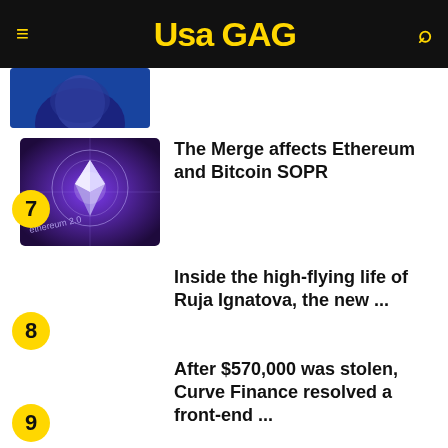USA GAG
[Figure (photo): Partial thumbnail image of a person, partially visible at top of page]
[Figure (photo): Ethereum 2.0 concept image with glowing purple digital coin labeled 'ethereum 2.0']
7 The Merge affects Ethereum and Bitcoin SOPR
8 Inside the high-flying life of Ruja Ignatova, the new ...
9 After $570,000 was stolen, Curve Finance resolved a front-end ...